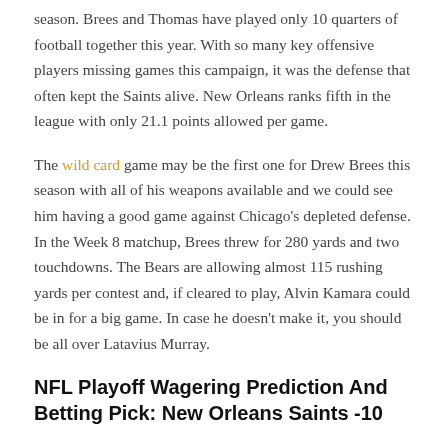season. Brees and Thomas have played only 10 quarters of football together this year. With so many key offensive players missing games this campaign, it was the defense that often kept the Saints alive. New Orleans ranks fifth in the league with only 21.1 points allowed per game.
The wild card game may be the first one for Drew Brees this season with all of his weapons available and we could see him having a good game against Chicago's depleted defense. In the Week 8 matchup, Brees threw for 280 yards and two touchdowns. The Bears are allowing almost 115 rushing yards per contest and, if cleared to play, Alvin Kamara could be in for a big game. In case he doesn't make it, you should be all over Latavius Murray.
NFL Playoff Wagering Prediction And Betting Pick: New Orleans Saints -10